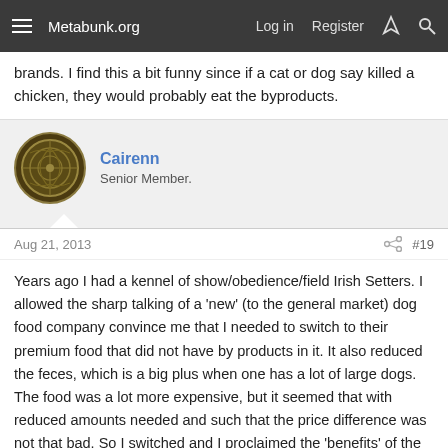Metabunk.org  Log in  Register
brands. I find this a bit funny since if a cat or dog say killed a chicken, they would probably eat the byproducts.
Cairenn
Senior Member.
Aug 21, 2013  #19
Years ago I had a kennel of show/obedience/field Irish Setters. I allowed the sharp talking of a 'new' (to the general market) dog food company convince me that I needed to switch to their premium food that did not have by products in it. It also reduced the feces, which is a big plus when one has a lot of large dogs. The food was a lot more expensive, but it seemed that with reduced amounts needed and such that the price difference was not that bad. So I switched and I proclaimed the 'benefits' of the food to others, even wrote about it in our club newsletter and I had a representative come to a meeting to tout it. A lot of folks switched.